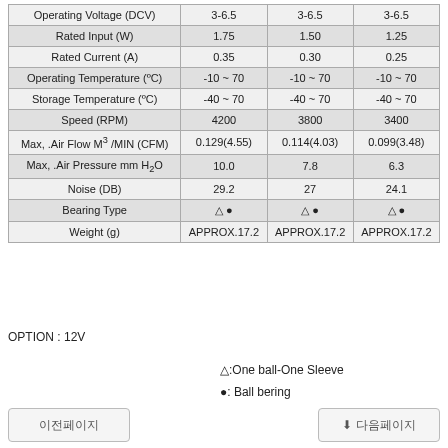|  |  |  |  |
| --- | --- | --- | --- |
| Operating Voltage (DCV) | 3-6.5 | 3-6.5 | 3-6.5 |
| Rated Input (W) | 1.75 | 1.50 | 1.25 |
| Rated Current (A) | 0.35 | 0.30 | 0.25 |
| Operating Temperature (ºC) | -10 ~ 70 | -10 ~ 70 | -10 ~ 70 |
| Storage Temperature (ºC) | -40 ~ 70 | -40 ~ 70 | -40 ~ 70 |
| Speed (RPM) | 4200 | 3800 | 3400 |
| Max, .Air Flow M³/MIN (CFM) | 0.129(4.55) | 0.114(4.03) | 0.099(3.48) |
| Max, .Air Pressure mm H₂O | 10.0 | 7.8 | 6.3 |
| Noise (DB) | 29.2 | 27 | 24.1 |
| Bearing Type | △ • | △ • | △ • |
| Weight (g) | APPROX.17.2 | APPROX.17.2 | APPROX.17.2 |
OPTION : 12V
△:One ball-One Sleeve
•: Ball bering
이전페이지   다음페이지